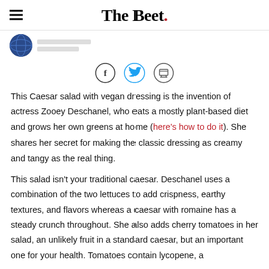The Beet.
[Figure (illustration): Author avatar - circular photo with dark blue/globe-like image]
[Figure (infographic): Social sharing icons: Facebook (f), Twitter (bird), Print (printer) - each in a circle]
This Caesar salad with vegan dressing is the invention of actress Zooey Deschanel, who eats a mostly plant-based diet and grows her own greens at home (here's how to do it). She shares her secret for making the classic dressing as creamy and tangy as the real thing.
This salad isn't your traditional caesar. Deschanel uses a combination of the two lettuces to add crispness, earthy textures, and flavors whereas a caesar with romaine has a steady crunch throughout. She also adds cherry tomatoes in her salad, an unlikely fruit in a standard caesar, but an important one for your health. Tomatoes contain lycopene, a